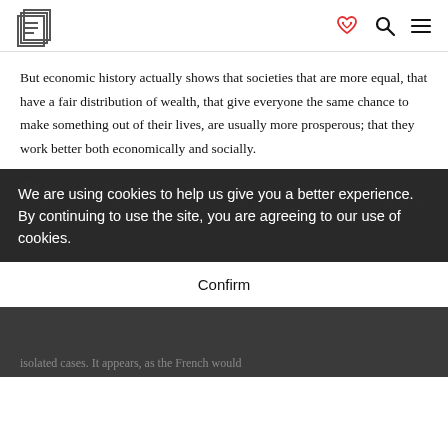[Logo: E] [heart handshake icon] [search icon] [menu icon]
But economic history actually shows that societies that are more equal, that have a fair distribution of wealth, that give everyone the same chance to make something out of their lives, are usually more prosperous; that they work better both economically and socially.
DD: But there is an unethical dimension in the current crisis: cornering of the market, fraudulent behaviour, cheating. It is not an accident to think about the fall of Enron, the fall of
We are using cookies to help us give you a better experience. By continuing to use the site, you are agreeing to our use of cookies.
Confirm
isolated cases. It appears, as the French would